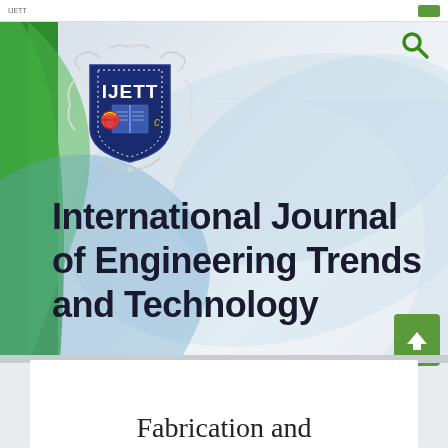[Figure (logo): IJETT shield logo with open book, globe, and decorative scroll border, navy blue and white]
International Journal of Engineering Trends and Technology
Fabrication and